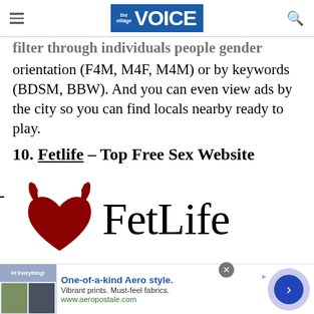the village VOICE
orientation (F4M, M4F, M4M) or by keywords (BDSM, BBW). And you can even view ads by the city so you can find locals nearby ready to play.
10. Fetlife – Top Free Sex Website
[Figure (logo): FetLife logo: dark red devil/heart icon on the left and 'FetLife' wordmark in black serif font on the right]
One-of-a-kind Aero style. Vibrant prints. Must-feel fabrics. www.aeropostale.com